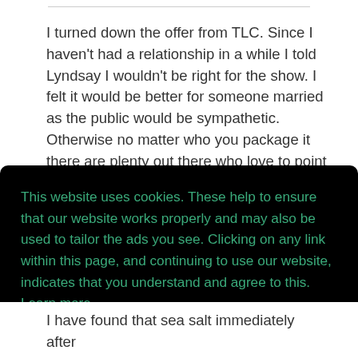I turned down the offer from TLC.  Since I haven't had a relationship in a while I told Lyndsay I wouldn't be right for the show. I felt it would be better for someone married as the public would be sympathetic.  Otherwise no matter who you package it there are plenty out there who love to point fingers  and
This website uses cookies. These help to ensure that our website works properly and may also be used to tailor the ads you see. Clicking on any link within this page, and continuing to use our website, indicates that you understand and agree to this.  Learn more
Got it!
I have found that sea  salt immediately after